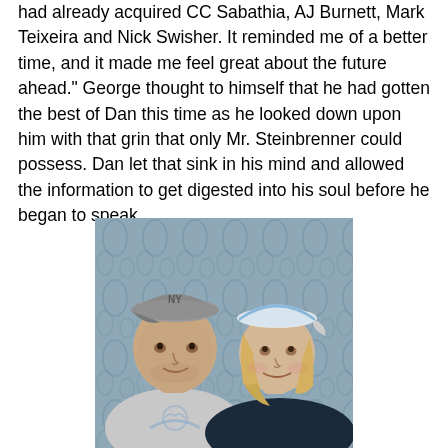had already acquired CC Sabathia, AJ Burnett, Mark Teixeira and Nick Swisher. It reminded me of a better time, and it made me feel great about the future ahead." George thought to himself that he had gotten the best of Dan this time as he looked down upon him with that grin that only Mr. Steinbrenner could possess. Dan let that sink in his mind and allowed the information to get digested into his soul before he began to speak.
[Figure (photo): A selfie photo of two people smiling. On the left is a young man wearing a grey New York Yankees baseball cap and a light grey t-shirt. On the right is a woman with blonde hair wearing a white and blue baseball cap and a dark navy hoodie. The background shows grey/blue curtains with a decorative pattern.]